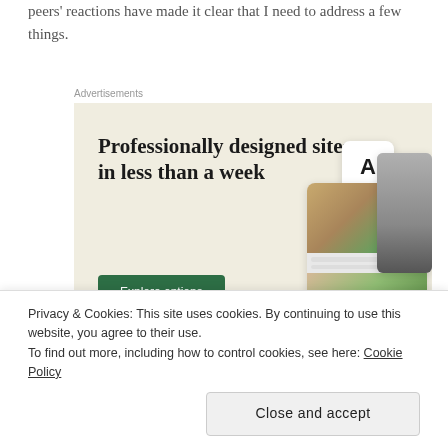peers' reactions have made it clear that I need to address a few things.
Advertisements
[Figure (infographic): Advertisement banner: 'Professionally designed sites in less than a week' with an 'Explore options' green button and device mockup screenshots on a beige background.]
Privacy & Cookies: This site uses cookies. By continuing to use this website, you agree to their use. To find out more, including how to control cookies, see here: Cookie Policy
Close and accept
pleasant. It truly is a Hallmark card. However, for anyone